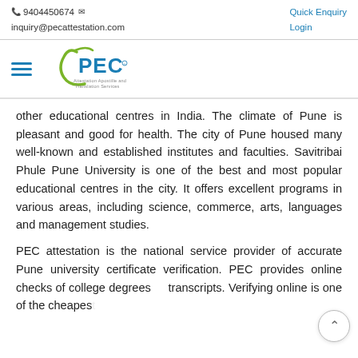📞 9404450674 ✉  inquiry@pecattestation.com  |  Quick Enquiry  Login
[Figure (logo): PEC Attestation Apostille and Translation Services logo with green swoosh and blue PEC text]
other educational centres in India. The climate of Pune is pleasant and good for health. The city of Pune housed many well-known and established institutes and faculties. Savitribai Phule Pune University is one of the best and most popular educational centres in the city. It offers excellent programs in various areas, including science, commerce, arts, languages and management studies.
PEC attestation is the national service provider of accurate Pune university certificate verification. PEC provides online checks of college degrees and transcripts. Verifying online is one of the cheapest